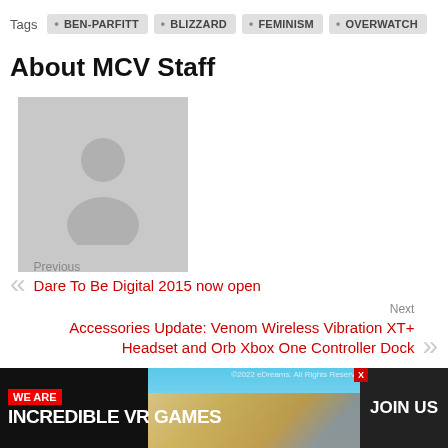Tags  BEN-PARFITT  BLIZZARD  FEMINISM  OVERWATCH
About MCV Staff
[Figure (illustration): Grey placeholder avatar with silhouette of a person (head and shoulders)]
Previous
Dare To Be Digital 2015 now open
Next
Accessories Update: Venom Wireless Vibration XT+ Headset and Orb Xbox One Controller Dock
WE ARE INCREDIBLE VR GAMES  JOIN US